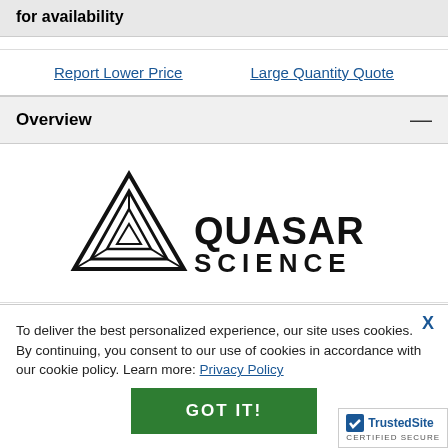for availability
Report Lower Price
Large Quantity Quote
Overview
[Figure (logo): Quasar Science logo — a geometric triangle maze icon on the left and 'QUASAR SCIENCE' in bold block letters on the right]
To deliver the best personalized experience, our site uses cookies. By continuing, you consent to our use of cookies in accordance with our cookie policy. Learn more: Privacy Policy
GOT IT!